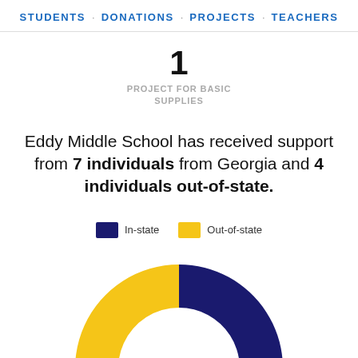STUDENTS · DONATIONS · PROJECTS · TEACHERS
1
PROJECT FOR BASIC SUPPLIES
Eddy Middle School has received support from 7 individuals from Georgia and 4 individuals out-of-state.
[Figure (donut-chart): In-state vs Out-of-state donors]